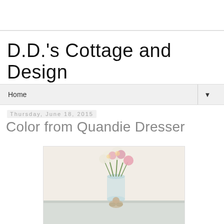D.D.'s Cottage and Design
Home
Thursday, June 18, 2015
Color from Quandie Dresser
[Figure (photo): A light blue glass vase with white and pink roses/flowers on a white dresser top, with a small figurine (angel or cherub) in front of the vase, against a cream/white wall background.]